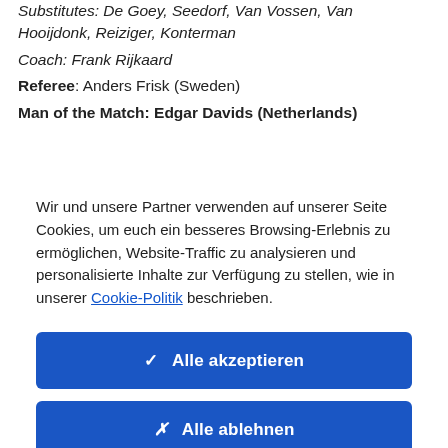Substitutes: De Goey, Seedorf, Van Vossen, Van Hooijdonk, Reiziger, Konterman
Coach: Frank Rijkaard
Referee: Anders Frisk (Sweden)
Man of the Match: Edgar Davids (Netherlands)
Wir und unsere Partner verwenden auf unserer Seite Cookies, um euch ein besseres Browsing-Erlebnis zu ermöglichen, Website-Traffic zu analysieren und personalisierte Inhalte zur Verfügung zu stellen, wie in unserer Cookie-Politik beschrieben.
✓  Alle akzeptieren
✗  Alle ablehnen
Cookie-Einstellungen  >